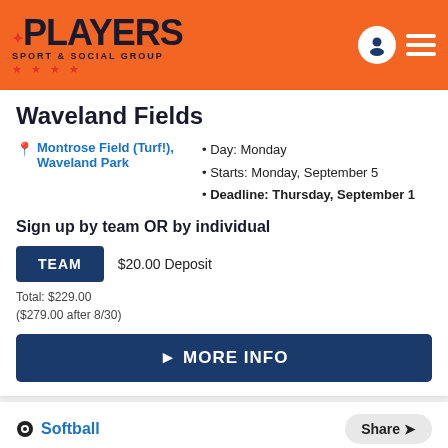Players Sport & Social Group
Waveland Fields
Montrose Field (Turf!), Waveland Park
Day: Monday
Starts: Monday, September 5
Deadline: Thursday, September 1
Sign up by team OR by individual
TEAM   $20.00 Deposit
Total: $229.00
($279.00 after 8/30)
MORE INFO
Softball
Coed 12", Men's 12", Coed 16", Men's 16"